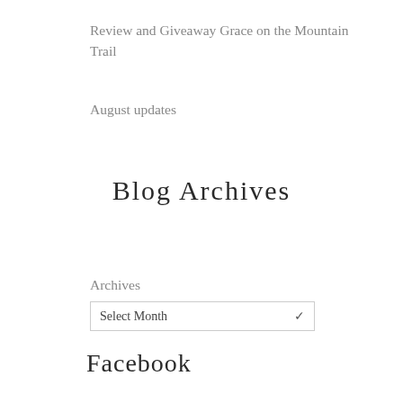Review and Giveaway Grace on the Mountain Trail
August updates
Blog Archives
Archives
Select Month
Facebook